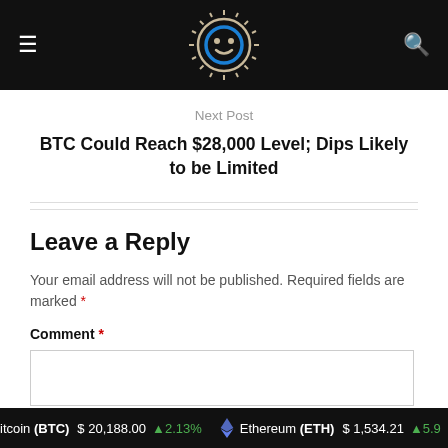Navigation bar with logo, hamburger menu, and search icon
Next Post
BTC Could Reach $28,000 Level; Dips Likely to be Limited
Leave a Reply
Your email address will not be published. Required fields are marked *
Comment *
Bitcoin (BTC) $20,188.00 ↑2.13%   Ethereum (ETH) $1,534.21 ↑5.9...